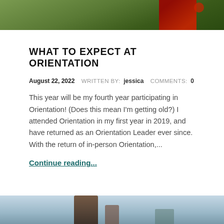[Figure (photo): Top portion of a photo showing greenery/trees and a person wearing a red top, cropped at the top of the page]
WHAT TO EXPECT AT ORIENTATION
August 22, 2022   WRITTEN BY:  jessica   COMMENTS:  0
This year will be my fourth year participating in Orientation! (Does this mean I'm getting old?) I attended Orientation in my first year in 2019, and have returned as an Orientation Leader ever since. With the return of in-person Orientation,...
Continue reading...
[Figure (photo): Bottom portion of a photo showing people outdoors, partially cropped at the bottom of the page]